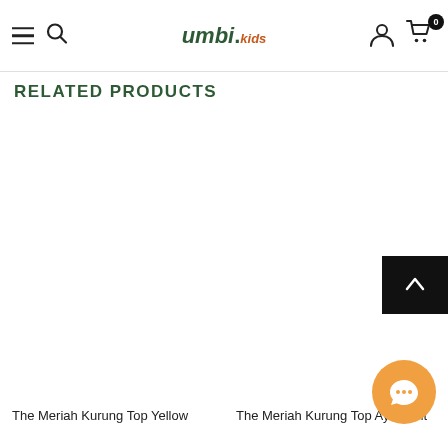umbi.kids — navigation header with hamburger menu, search icon, logo, user icon, and cart (0 items)
RELATED PRODUCTS
[Figure (other): Product image placeholder for The Meriah Kurung Top Yellow (left column, blank white area)]
The Meriah Kurung Top Yellow
[Figure (other): Product image placeholder for The Meriah Kurung Top Ayu Print (right column, blank white area)]
The Meriah Kurung Top Ayu Print